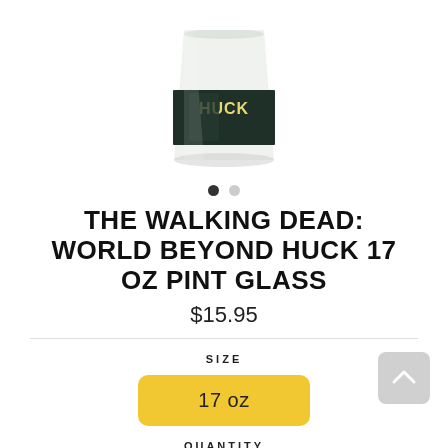[Figure (photo): Partial photo of a pint glass with 'HUCK' branding from The Walking Dead: World Beyond, cropped at top]
• •  (carousel dot indicators, first dot active)
THE WALKING DEAD: WORLD BEYOND HUCK 17 OZ PINT GLASS
$15.95
SIZE
17 oz
QUANTITY
- 1 +